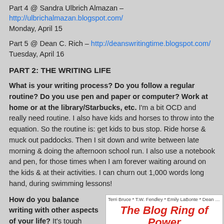Part 4 @ Sandra Ulbrich Almazan – http://ulbrichalmazan.blogspot.com/ Monday, April 15
Part 5 @ Dean C. Rich – http://deanswritingtime.blogspot.com/ Tuesday, April 16
PART 2: THE WRITING LIFE
What is your writing process? Do you follow a regular routine? Do you use pen and paper or computer? Work at home or at the library/Starbucks, etc. I'm a bit OCD and really need routine. I also have kids and horses to throw into the equation. So the routine is: get kids to bus stop. Ride horse & muck out paddocks. Then I sit down and write between late morning & doing the afternoon school run. I also use a notebook and pen, for those times when I am forever waiting around on the kids & at their activities. I can churn out 1,000 words long hand, during swimming lessons!
How do you balance writing with other aspects of your life? It's tough
[Figure (illustration): The Blog Ring of Power promotional banner featuring text 'Terri Bruce * T.W. Fendley * Emily LaBonte * Dean C. Rich * Sandra Ulbrich Almazan' and 'The Blog Ring of Power' title in red italic, with collage of fantasy/dark themed images below]